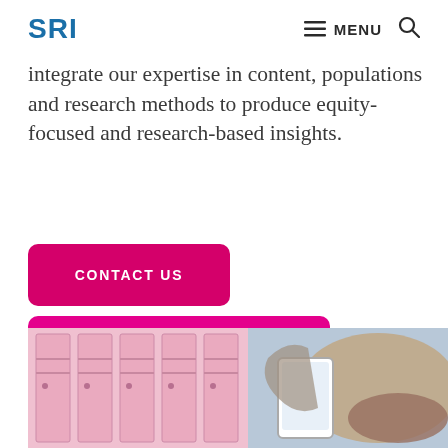SRI  MENU
integrate our expertise in content, populations and research methods to produce equity-focused and research-based insights.
CONTACT US
READ OUR NEWSLETTERS
[Figure (photo): School lockers (pink) on the left and a person holding a tablet device on the right]